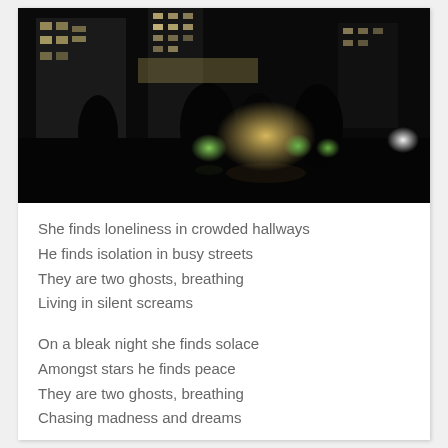[Figure (photo): Night cityscape photograph showing illuminated buildings in the background and trees with green and amber lights in the foreground against a very dark sky.]
She finds loneliness in crowded hallways
He finds isolation in busy streets
They are two ghosts, breathing
Living in silent screams

On a bleak night she finds solace
Amongst stars he finds peace
They are two ghosts, breathing
Chasing madness and dreams